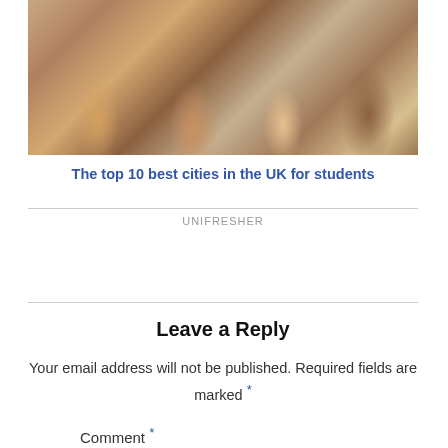[Figure (photo): Group of four young smiling people (students), outdoors in an urban setting. A blonde woman on the left, a man in a white t-shirt, a woman with pink hair in the center, and a man on the right wearing a jacket with a blue strap.]
The top 10 best cities in the UK for students
UNIFRESHER
Leave a Reply
Your email address will not be published. Required fields are marked *
Comment *